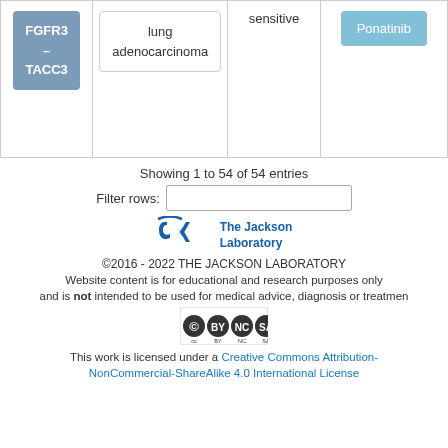| Gene | Cancer Type | Sensitivity | Drug |
| --- | --- | --- | --- |
| FGFR3 - TACC3 | lung adenocarcinoma | sensitive | Ponatinib |
Showing 1 to 54 of 54 entries
Filter rows:
[Figure (logo): The Jackson Laboratory logo with stylized JX letters in blue]
©2016 - 2022 THE JACKSON LABORATORY
Website content is for educational and research purposes only and is not intended to be used for medical advice, diagnosis or treatment.
[Figure (logo): Creative Commons BY NC SA license badge]
This work is licensed under a Creative Commons Attribution-NonCommercial-ShareAlike 4.0 International License